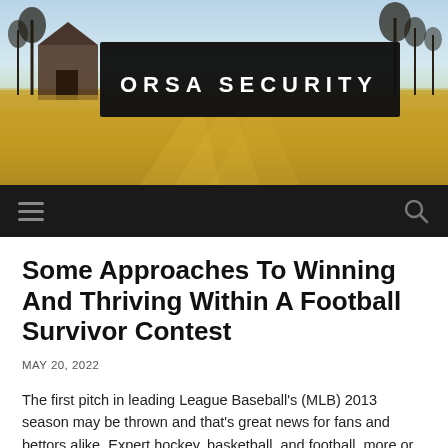[Figure (photo): Outdoor rural landscape with a barn and trees in golden light, used as a website header background image with a dark banner overlay reading ORSA SECURITY in white bold letters]
ORSA SECURITY
Some Approaches To Winning And Thriving Within A Football Survivor Contest
MAY 20, 2022
The first pitch in leading League Baseball's (MLB) 2013 season may be thrown and that's great news for fans and bettors alike. Expert hockey, basketball, and football, more or less on hiatus when the summer